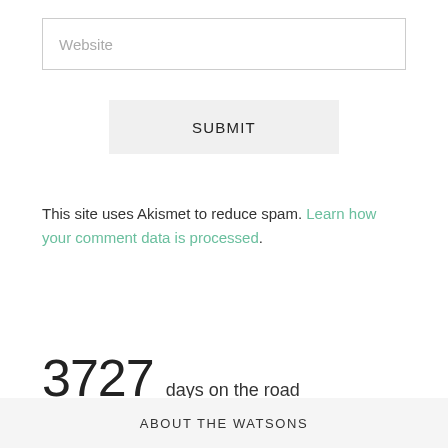Website
SUBMIT
This site uses Akismet to reduce spam. Learn how your comment data is processed.
3727 days on the road
ABOUT THE WATSONS